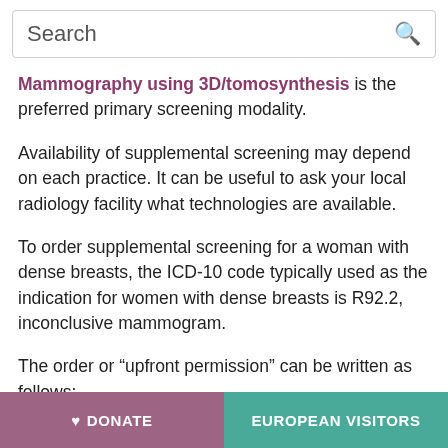Search
Mammography using 3D/tomosynthesis is the preferred primary screening modality.
Availability of supplemental screening may depend on each practice. It can be useful to ask your local radiology facility what technologies are available.
To order supplemental screening for a woman with dense breasts, the ICD-10 code typically used as the indication for women with dense breasts is R92.2, inconclusive mammogram.
The order or “upfront permission” can be written as follows:
♥ DONATE   EUROPEAN VISITORS